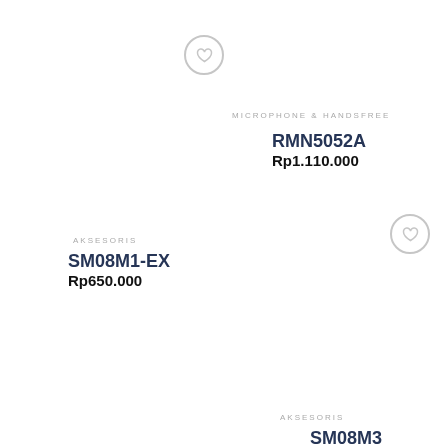[Figure (illustration): Heart/wishlist icon (circle with heart) top center]
MICROPHONE & HANDSFREE
RMN5052A
Rp1.110.000
AKSESORIS
SM08M1-EX
Rp650.000
[Figure (illustration): Heart/wishlist icon (circle with heart) right side middle]
AKSESORIS
SM08M3